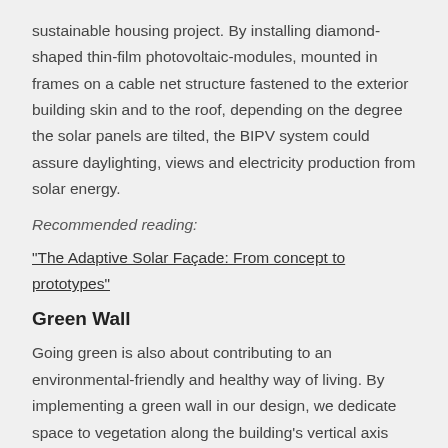sustainable housing project. By installing diamond-shaped thin-film photovoltaic-modules, mounted in frames on a cable net structure fastened to the exterior building skin and to the roof, depending on the degree the solar panels are tilted, the BIPV system could assure daylighting, views and electricity production from solar energy.
Recommended reading:
"The Adaptive Solar Façade: From concept to prototypes"
Green Wall
Going green is also about contributing to an environmental-friendly and healthy way of living. By implementing a green wall in our design, we dedicate space to vegetation along the building's vertical axis and try to bring back nature in New York's urban environment. We believe that implementing natural flora is not only important for the balance of the ecosystem, but is also a crucial element for our